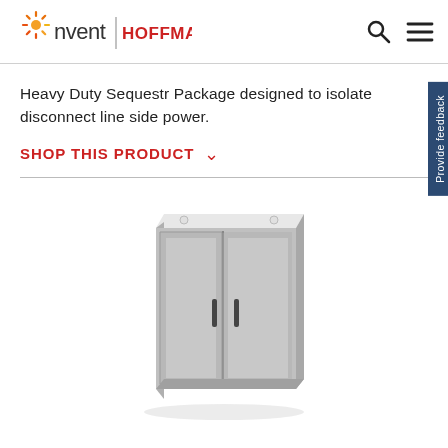[Figure (logo): nVent HOFFMAN logo with sunburst icon in orange/red/yellow, text 'nvent' in dark gray lowercase and 'HOFFMAN' in red uppercase, with a vertical divider between them]
Heavy Duty Sequestr Package designed to isolate disconnect line side power.
SHOP THIS PRODUCT ∨
[Figure (photo): Gray industrial electrical enclosure cabinet with two doors, black handles, wall-mounting hardware on top, 3D rendered product photo on white background]